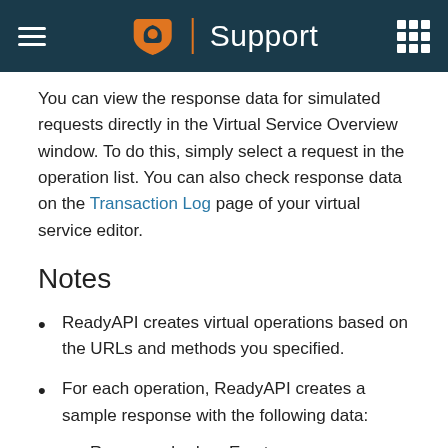Support
You can view the response data for simulated requests directly in the Virtual Service Overview window. To do this, simply select a request in the operation list. You can also check response data on the Transaction Log page of your virtual service editor.
Notes
ReadyAPI creates virtual operations based on the URLs and methods you specified.
For each operation, ReadyAPI creates a sample response with the following data:
| Response body: | Empty |
| Status code: | 200 OK |
| Media type: | application/xml |